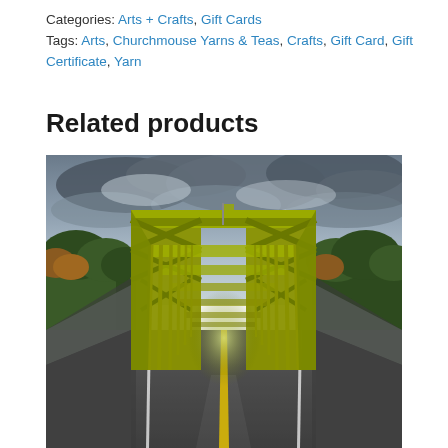Categories: Arts + Crafts, Gift Cards
Tags: Arts, Churchmouse Yarns & Teas, Crafts, Gift Card, Gift Certificate, Yarn
Related products
[Figure (photo): HDR photograph of a yellow steel truss bridge viewed from the road surface, with perspective lines leading through the bridge tunnel, bordered by trees and under a dramatic cloudy sky.]